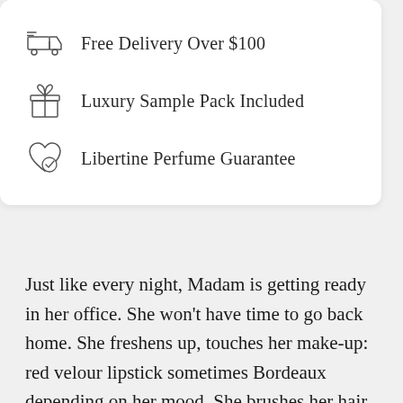Free Delivery Over $100
Luxury Sample Pack Included
Libertine Perfume Guarantee
Just like every night, Madam is getting ready in her office. She won't have time to go back home. She freshens up, touches her make-up: red velour lipstick sometimes Bordeaux depending on her mood. She brushes her hair and takes out her necklace from her purse. Her white shirt slightly open highlights her inviting curves. She adds a bit more black to her eyes. She slams the front door as her heels strides on the sidewalk. Just like every